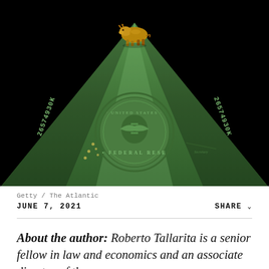[Figure (photo): A golden bull figurine standing on the tip of a US Federal Reserve dollar bill oriented as a triangle pointing upward, against a black background. The Federal Reserve seal is visible on the bill.]
Getty / The Atlantic
JUNE 7, 2021
SHARE
About the author: Roberto Tallarita is a senior fellow in law and economics and an associate director of the